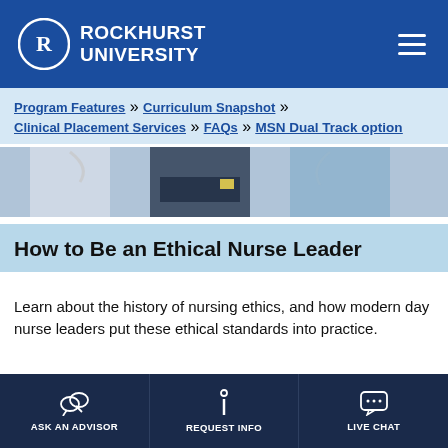[Figure (logo): Rockhurst University logo - circle with R and university name in white on blue header]
ROCKHURST UNIVERSITY
Program Features >> Curriculum Snapshot >> Clinical Placement Services >> FAQs >> MSN Dual Track option
[Figure (photo): Hero photo of medical professionals in scrubs and white coats]
How to Be an Ethical Nurse Leader
Learn about the history of nursing ethics, and how modern day nurse leaders put these ethical standards into practice.
MSN Leadership
ASK AN ADVISOR   REQUEST INFO   LIVE CHAT